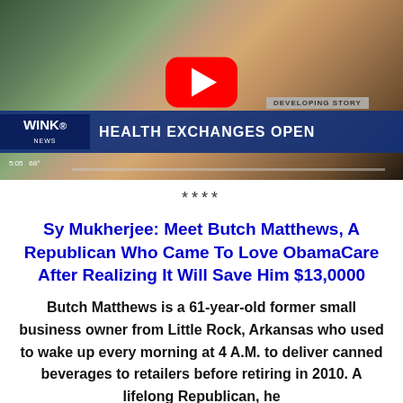[Figure (screenshot): YouTube video thumbnail showing a news broadcast from WINK NEWS with chyron reading 'DEVELOPING STORY / HEALTH EXCHANGES OPEN', featuring a woman being interviewed outdoors. A YouTube play button overlay is visible.]
****
Sy Mukherjee: Meet Butch Matthews, A Republican Who Came To Love ObamaCare After Realizing It Will Save Him $13,0000
Butch Matthews is a 61-year-old former small business owner from Little Rock, Arkansas who used to wake up every morning at 4 A.M. to deliver canned beverages to retailers before retiring in 2010. A lifelong Republican, he